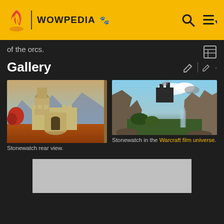WOWPEDIA
of the orcs.
Gallery
[Figure (photo): Stonewatch rear view — a fantasy castle with towers on red/orange terrain, game screenshot]
Stonewatch rear view.
[Figure (photo): Stonewatch in the Warcraft film universe — rocky cliffs with a dark fortress and waterfall in a cinematic style]
Stonewatch in the Warcraft film universe.
[Figure (screenshot): Partially visible image at bottom of page, gray/light colored]